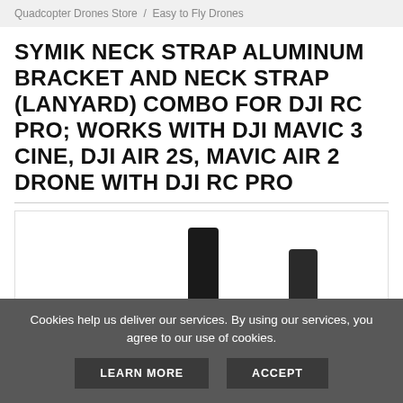Quadcopter Drones Store / Easy to Fly Drones
SYMIK NECK STRAP ALUMINUM BRACKET AND NECK STRAP (LANYARD) COMBO FOR DJI RC PRO; WORKS WITH DJI MAVIC 3 CINE, DJI AIR 2S, MAVIC AIR 2 DRONE WITH DJI RC PRO
[Figure (photo): Product photo showing metal hardware components — two black cylindrical posts and a small connector piece on a white background]
Cookies help us deliver our services. By using our services, you agree to our use of cookies.
LEARN MORE   ACCEPT